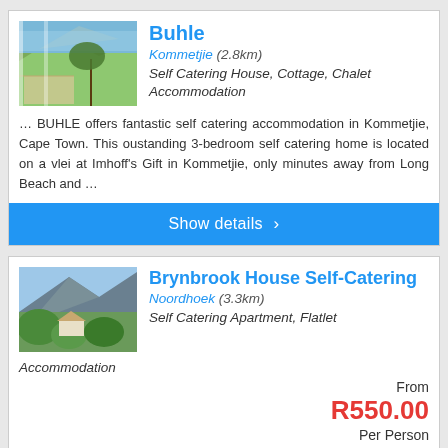Buhle
Kommetjie (2.8km)
Self Catering House, Cottage, Chalet Accommodation
… BUHLE offers fantastic self catering accommodation in Kommetjie, Cape Town. This oustanding 3-bedroom self catering home is located on a vlei at Imhoff's Gift in Kommetjie, only minutes away from Long Beach and …
Show details ›
Brynbrook House Self-Catering
Noordhoek (3.3km)
Self Catering Apartment, Flatlet Accommodation
From R550.00 Per Person
Brynbrook is a modern, tastefully decorated self-catering